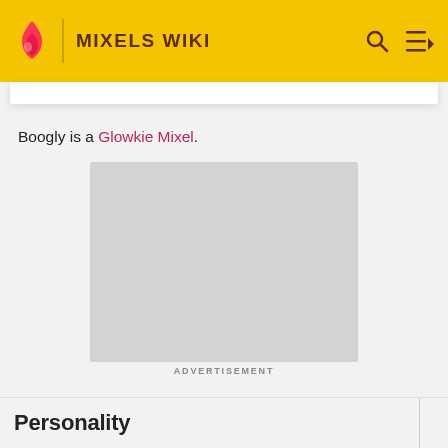MIXELS WIKI
Boogly is a Glowkie Mixel.
[Figure (other): Gray advertisement placeholder rectangle]
ADVERTISEMENT
Personality